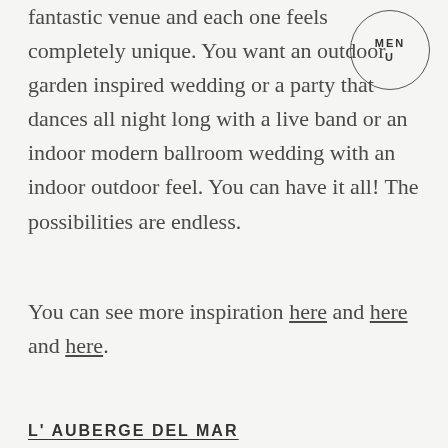fantastic venue and each one feels completely unique. You want an outdoor garden inspired wedding or a party that dances all night long with a live band or an indoor modern ballroom wedding with an indoor outdoor feel. You can have it all! The possibilities are endless.
You can see more inspiration here and here and here.
L' AUBERGE DEL MAR